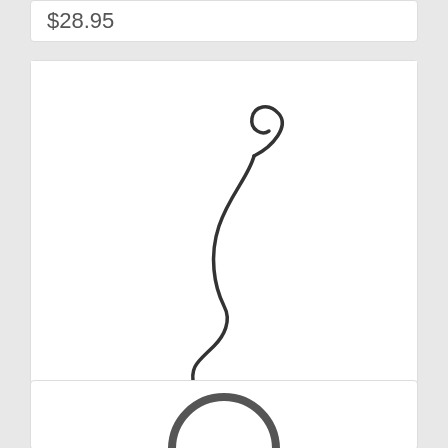$28.95
[Figure (photo): A black ornament hook with an S-shaped wire and a small black clip at the bottom, shown against a white background.]
PRODUCT
Tree Ornament Hook with Clip (1)
$4.75
[Figure (photo): Partial view of another product (circular ring) at the bottom of the page.]